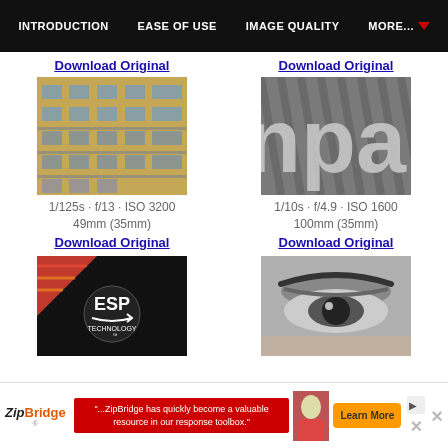INTRODUCTION   EASE OF USE   IMAGE QUALITY   MORE...
Download Original
[Figure (photo): Exterior of a multi-story brick apartment building with balconies]
1/125s · f/13 · ISO 3200
49mm (35mm)
Download Original
[Figure (photo): Close-up of large text letters 'npa' on a textured surface]
1/10s · f/4.9 · ISO 1600
100mm (35mm)
Download Original
Download Original
[Figure (photo): ESP Technology logo on dark background with orange/red diagonal stripe]
[Figure (photo): Black and white close-up of a person's eye and eyebrow]
...ZipBridge has quickly become a valuable resource in our response toolbox.  Learn More